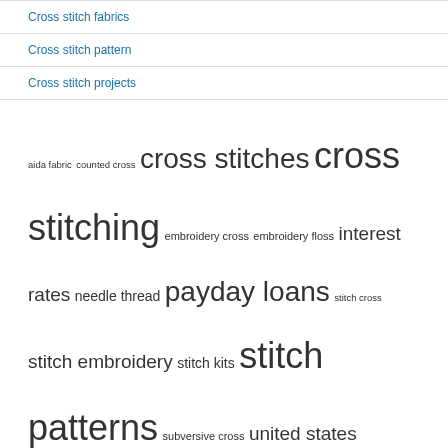Cross stitch fabrics
Cross stitch pattern
Cross stitch projects
aida fabric  counted cross  cross stitches  cross stitching  embroidery cross  embroidery floss  interest rates  needle thread  payday loans  stitch cross  stitch embroidery  stitch kits  stitch patterns  subversive cross  united states
RECENT POSTS
Payday and installment loans are on the rise in Canada as a result of the pandemic